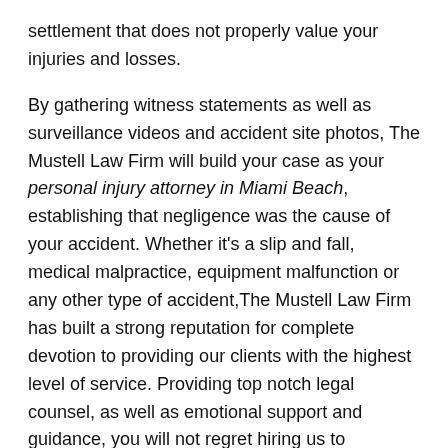settlement that does not properly value your injuries and losses.
By gathering witness statements as well as surveillance videos and accident site photos, The Mustell Law Firm will build your case as your personal injury attorney in Miami Beach, establishing that negligence was the cause of your accident. Whether it's a slip and fall, medical malpractice, equipment malfunction or any other type of accident,The Mustell Law Firm has built a strong reputation for complete devotion to providing our clients with the highest level of service. Providing top notch legal counsel, as well as emotional support and guidance, you will not regret hiring us to represent your case.
When you need a personal injury attorney in Miami Beach, we will build a case determining that you have been the victim of negligence and the accountable party should be held financially responsible for your recovery. Going above and beyond, we work on your behalf to see to it that the responsible party is held accountable for your recovery and associated medical expenses. Our dedicated team will assist with filing your claim, negotiating a